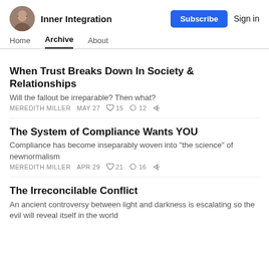Inner Integration
Home  Archive  About
When Trust Breaks Down In Society & Relationships
Will the fallout be irreparable? Then what?
MEREDITH MILLER   MAY 27   ♡ 15   ⌀ 12
The System of Compliance Wants YOU
Compliance has become inseparably woven into "the science" of newnormalism
MEREDITH MILLER   APR 29   ♡ 21   ⌀ 16
The Irreconcilable Conflict
An ancient controversy between light and darkness is escalating so the evil will reveal itself in the world